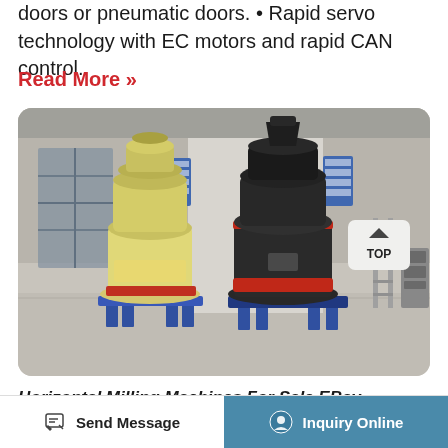doors or pneumatic doors. • Rapid servo technology with EC motors and rapid CAN control.
Read More »
[Figure (photo): Industrial factory floor with two large grinding/milling machines — one yellow-cream colored on the left and one dark grey/black on the right with red accents — standing on blue metal bases inside a large concrete warehouse building. A 'TOP' navigation button overlay is visible in the upper right of the image.]
Horizontal Milling Machines For Sale EBay
Send Message
Inquiry Online